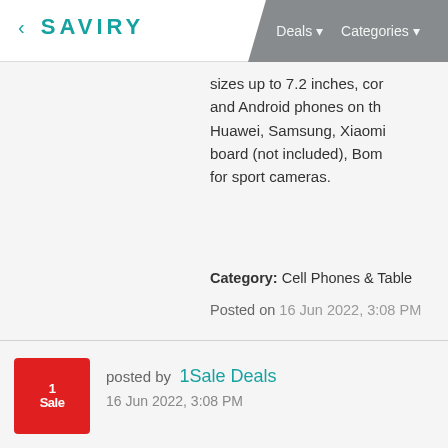< SAVIRY  Deals ▾  Categories ▾
sizes up to 7.2 inches, cor and Android phones on th Huawei, Samsung, Xiaomi board (not included), Bom for sport cameras.
Category: Cell Phones & Tablet
Posted on 16 Jun 2022, 3:08 PM
[Figure (logo): 1Sale red square logo with white text '1Sale']
posted by  1Sale Deals
16 Jun 2022, 3:08 PM